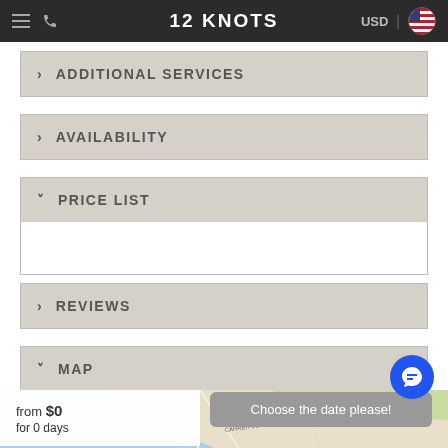12 KNOTS
> ADDITIONAL SERVICES
> AVAILABILITY
v PRICE LIST
> REVIEWS
v MAP
[Figure (map): Street map showing coastal area with street labels: CARRER DE MOTXES, CARRER DE PAU CASALS, CARRER JOHANN SEBASTIAN BACH]
from $0
for 0 days
Choose the date please!